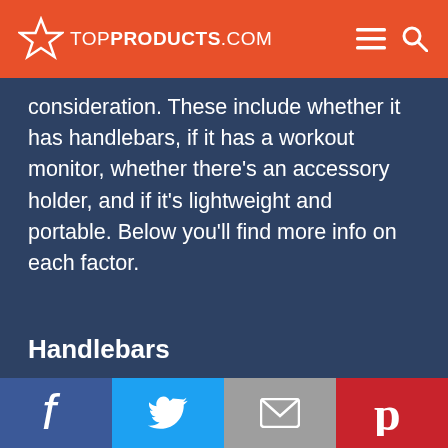TOP PRODUCTS .COM
consideration. These include whether it has handlebars, if it has a workout monitor, whether there’s an accessory holder, and if it’s lightweight and portable. Below you’ll find more info on each factor.
Handlebars
[Figure (infographic): Social media share bar with Facebook, Twitter, email, and Pinterest buttons]